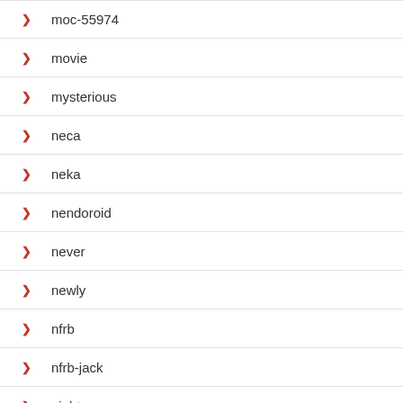moc-55974
movie
mysterious
neca
neka
nendoroid
never
newly
nfrb
nfrb-jack
nightcore